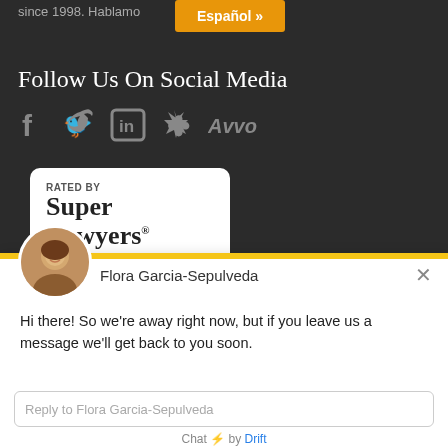since 1998. Hablamo
Español »
Follow Us On Social Media
[Figure (logo): Social media icons: Facebook (f), Twitter (bird), LinkedIn (in), Yelp (star), Avvo]
[Figure (logo): Super Lawyers badge: RATED BY Super Lawyers®]
Flora Garcia-Sepulveda
Hi there! So we're away right now, but if you leave us a message we'll get back to you soon.
Reply to Flora Garcia-Sepulveda
Chat ⚡ by Drift